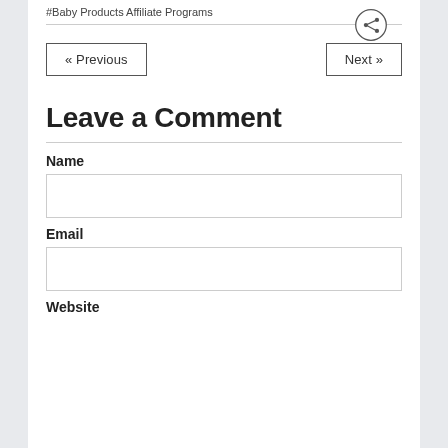#Baby Products Affiliate Programs
« Previous
Next »
Leave a Comment
Name
Email
Website